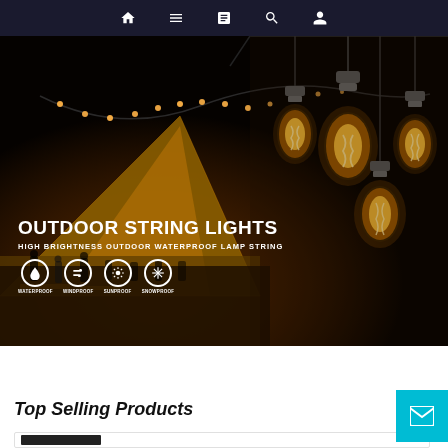Navigation bar with home, menu, catalog, search, account icons
[Figure (photo): Outdoor string lights product promotional banner. Left side shows a large tent at night with string lights strung overhead, people gathered below. Right side shows close-up of hanging Edison-style bulbs with warm filament glow. Text overlay reads 'OUTDOOR STRING LIGHTS / HIGH BRIGHTNESS OUTDOOR WATERPROOF LAMP STRING' with four icons: WATERPROOF, WINDPROOF, SUNPROOF, SNOWPROOF.]
Top Selling Products